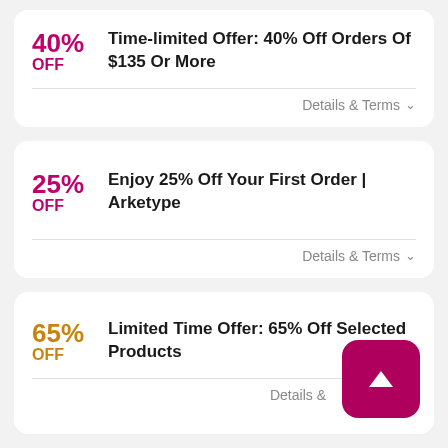40% OFF — Time-limited Offer: 40% Off Orders Of $135 Or More — Details & Terms
25% OFF — Enjoy 25% Off Your First Order | Arketype — Details & Terms
65% OFF — Limited Time Offer: 65% Off Selected Products — Details &